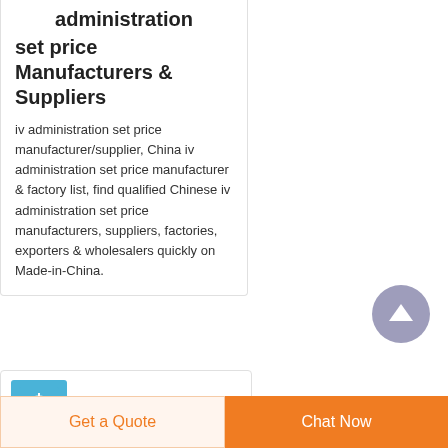administration set price Manufacturers & Suppliers
iv administration set price manufacturer/supplier, China iv administration set price manufacturer & factory list, find qualified Chinese iv administration set price manufacturers, suppliers, factories, exporters & wholesalers quickly on Made-in-China.
[Figure (screenshot): Blue product thumbnail image for IV Sets IV listing]
IV Sets IV
Get a Quote
Chat Now